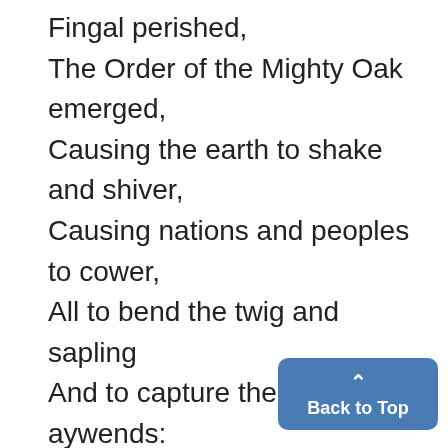Fingal perished,
The Order of the Mighty Oak emerged,
Causing the earth to shake and shiver,
Causing nations and peoples to cower,
All to bend the twig and sapling
And to capture the sturdy aywends:
Loose-swinging Long-shot Locust Lovell, and Mighty-leaping Marble-shouldered maple Marciniak.